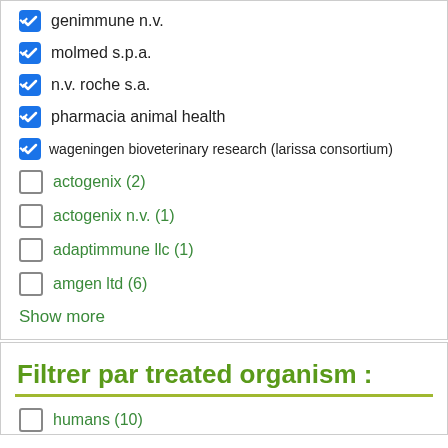genimmune n.v. [checked]
molmed s.p.a. [checked]
n.v. roche s.a. [checked]
pharmacia animal health [checked]
wageningen bioveterinary research (larissa consortium) [checked]
actogenix (2) [unchecked]
actogenix n.v. (1) [unchecked]
adaptimmune llc (1) [unchecked]
amgen ltd (6) [unchecked]
Show more
Filtrer par treated organism :
humans (10) [unchecked]